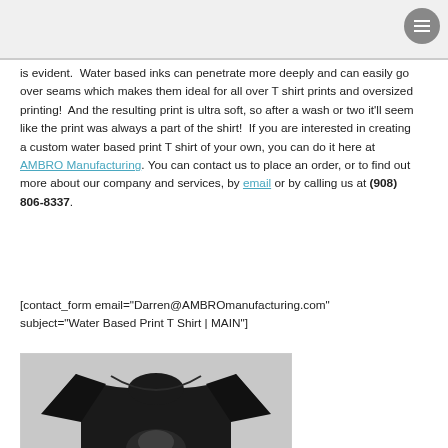is evident.  Water based inks can penetrate more deeply and can easily go over seams which makes them ideal for all over T shirt prints and oversized printing!  And the resulting print is ultra soft, so after a wash or two it'll seem like the print was always a part of the shirt!  If you are interested in creating a custom water based print T shirt of your own, you can do it here at AMBRO Manufacturing. You can contact us to place an order, or to find out more about our company and services, by email or by calling us at (908) 806-8337.
[contact_form email="Darren@AMBROmanufacturing.com" subject="Water Based Print T Shirt | MAIN"]
[Figure (photo): Photo of a black t-shirt with a printed design, partially visible at bottom of page.]